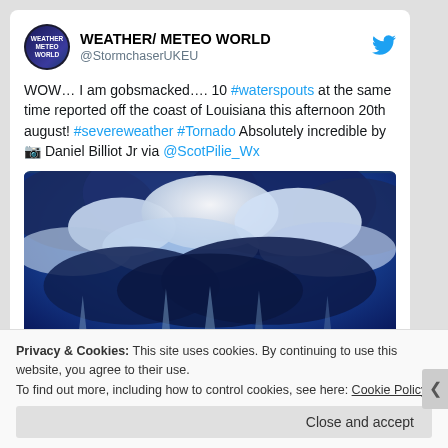WEATHER/ METEO WORLD @StormchaserUKEU
WOW… I am gobsmacked…. 10 #waterspouts at the same time reported off the coast of Louisiana this afternoon 20th august! #severeweather #Tornado Absolutely incredible by 📷 Daniel Billiot Jr via @ScotPilie_Wx
[Figure (photo): Dramatic wide-angle photograph of a stormy ocean scene showing multiple waterspouts beneath dark storm clouds, with blue-tinted sky and choppy water in the foreground.]
Privacy & Cookies: This site uses cookies. By continuing to use this website, you agree to their use.
To find out more, including how to control cookies, see here: Cookie Policy
Close and accept